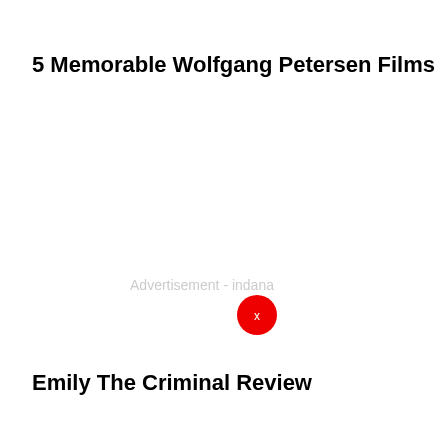5 Memorable Wolfgang Petersen Films
[Figure (other): Advertisement placeholder with red close button circle labeled 'x'. Text reads 'Advertisement - indana'.]
Emily The Criminal Review